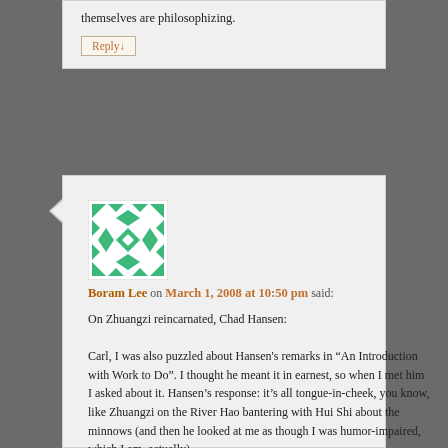themselves are philosophizing.
Reply↓
[Figure (illustration): Green geometric avatar/identicon with diamond and triangle patterns on white background]
Boram Lee on March 1, 2008 at 10:50 pm said:
On Zhuangzi reincarnated, Chad Hansen:
Carl, I was also puzzled about Hansen's remarks in “An Introduction with Work to Do”. I thought he meant it in earnest, so when I met him I asked about it. Hansen’s response: it’s all tongue-in-cheek, you know, like Zhuangzi on the River Hao bantering with Hui Shi about the minnows (and then he looked at me as though I was humor-impaired, which I am, actually).